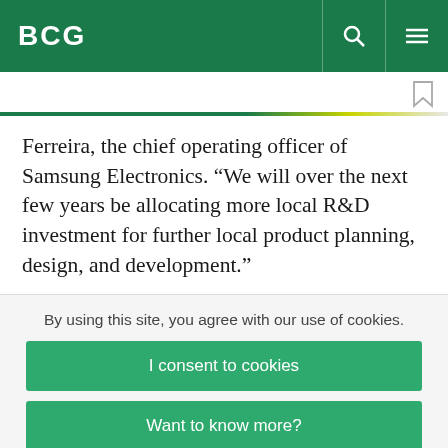BCG
Ferreira, the chief operating officer of Samsung Electronics. “We will over the next few years be allocating more local R&D investment for further local product planning, design, and development.”
By using this site, you agree with our use of cookies.
I consent to cookies
Want to know more?
Read our Cookie Policy